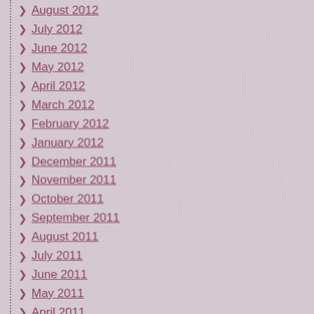August 2012
July 2012
June 2012
May 2012
April 2012
March 2012
February 2012
January 2012
December 2011
November 2011
October 2011
September 2011
August 2011
July 2011
June 2011
May 2011
April 2011
March 2011
February 2011
January 2011
December 2010
August 2010